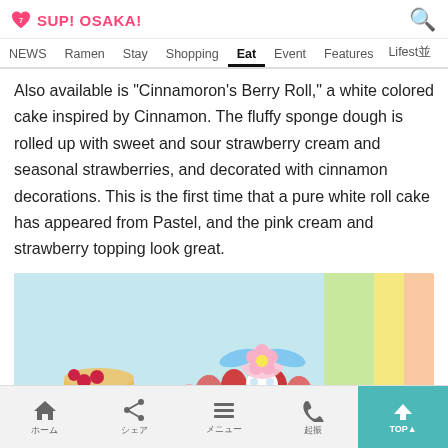SUP! OSAKA!
NEWS  Ramen  Stay  Shopping  Eat  Event  Features  Lifestyle
Also available is "Cinnamoron's Berry Roll," a white colored cake inspired by Cinnamon. The fluffy sponge dough is rolled up with sweet and sour strawberry cream and seasonal strawberries, and decorated with cinnamon decorations. This is the first time that a pure white roll cake has appeared from Pastel, and the pink cream and strawberry topping look great.
[Figure (photo): Photo of Cinnamoroll-themed desserts including a white roll cake topped with strawberries, pink cream, and a Cinnamoroll character decoration, alongside decorated cups with pudding and cream.]
Home  Share  Menu  Call  TOP